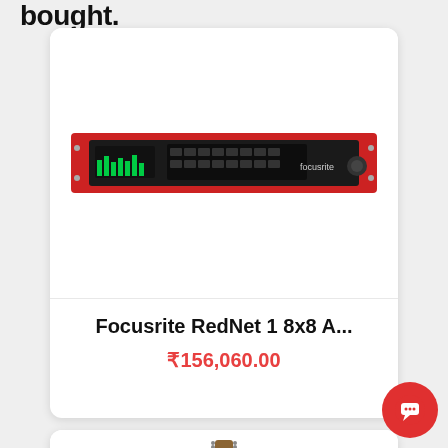bought.
[Figure (photo): Focusrite RedNet 1 8x8 audio interface - red rack-mount unit with meters and controls]
Focusrite RedNet 1 8x8 A...
₹156,060.00
[Figure (photo): Acoustic guitar shown from the back, natural wood finish]
[Figure (illustration): Red circular chat/message bubble button in bottom right corner]